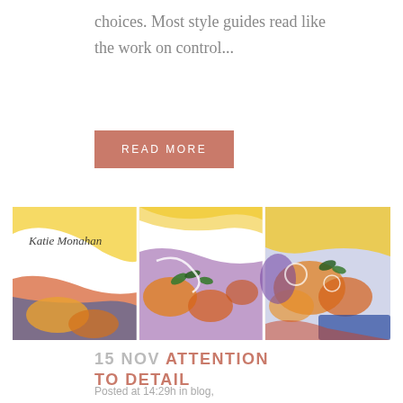choices. Most style guides read like the work on control...
READ MORE
[Figure (illustration): A colorful abstract triptych painting signed 'Katie Monahan', featuring swirling yellows, reds, blues, and greens with flower motifs, divided into three panels.]
15 NOV ATTENTION TO DETAIL
Posted at 14:29h in blog,